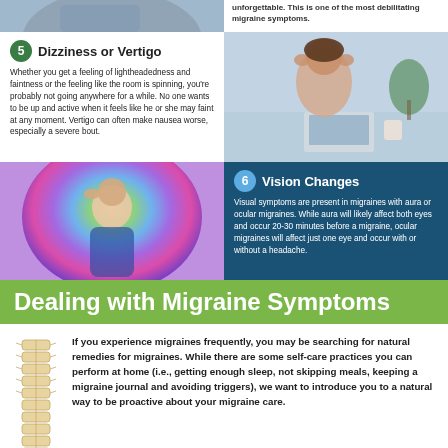unforgettable. This is one of the most debilitating migraine symptoms.
5 Dizziness or Vertigo
Whether you get a feeling of lightheadedness and faintness or the feeling like the room is spinning, you're probably not going anywhere for a while. No one wants to be up and active when it feels like he or she may faint at any moment. Vertigo can often make nausea worse, especially a severe bout.
[Figure (photo): Woman sitting at desk holding head with hands, appearing to have a headache, with laptop and plants in background]
[Figure (photo): Woman with colorful aura around head suggesting migraine visual disturbance]
6 Vision Changes
Visual symptoms are present in migraines with aura or ocular migraines. While aura will likely affect both eyes and occur 20-30 minutes before a migraine, ocular migraines will affect just one eye and occur with or without a headache.
Dealing with Migraine Symptoms
If you experience migraines frequently, you may be searching for natural remedies for migraines. While there are some self-care practices you can perform at home (i.e., getting enough sleep, not skipping meals, keeping a migraine journal and avoiding triggers), we want to introduce you to a natural way to be proactive about your migraine care.
[Figure (photo): Spine/vertebrae illustration]